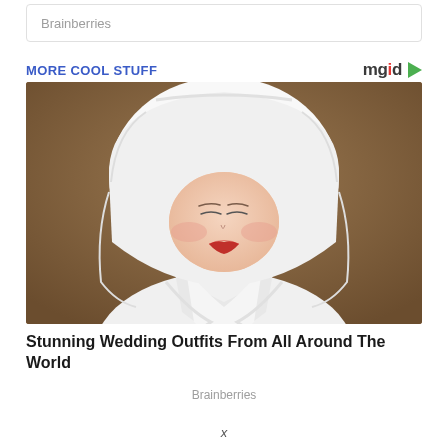Brainberries
MORE COOL STUFF
[Figure (photo): A woman dressed in a traditional Japanese white wedding kimono and large white tsunokakushi headdress, face showing closed eyes and red lips, photographed against a blurred brown background.]
Stunning Wedding Outfits From All Around The World
Brainberries